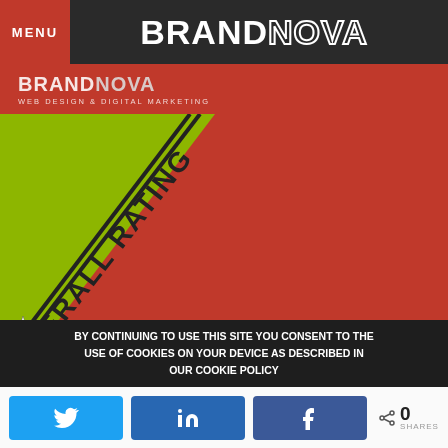MENU | BRANDNOVA
[Figure (screenshot): BrandNova website screenshot showing logo with 'WEB DESIGN & DIGITAL MARKETING' tagline and a green ribbon banner with 'OVERALL RATING 5' text and star icons on a red background]
BY CONTINUING TO USE THIS SITE YOU CONSENT TO THE USE OF COOKIES ON YOUR DEVICE AS DESCRIBED IN OUR COOKIE POLICY
[Figure (infographic): Social share buttons: Twitter (bird icon), LinkedIn (in icon), Facebook (f icon), with share count showing 0 SHARES]